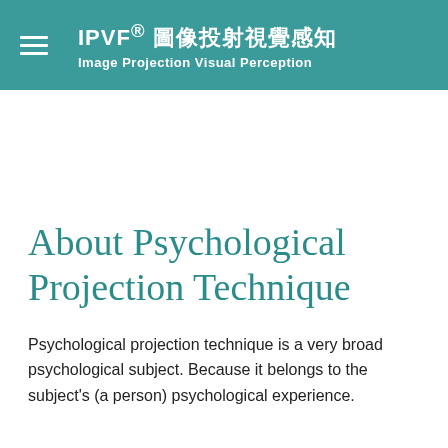IPVF® 圖像投射視覺感知 Image Projection Visual Perception
About Psychological Projection Technique
Psychological projection technique is a very broad psychological subject. Because it belongs to the subject's (a person) psychological experience.